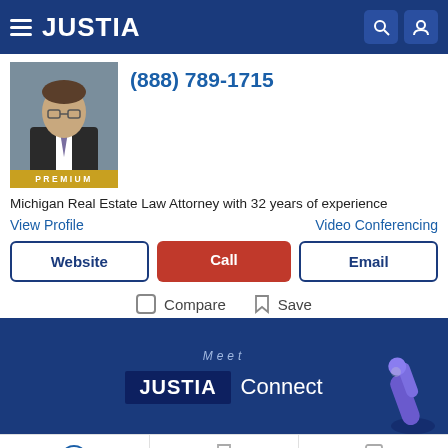JUSTIA
(888) 789-1715
[Figure (photo): Professional headshot of male attorney in suit and tie, with PREMIUM badge at bottom]
Michigan Real Estate Law Attorney with 32 years of experience
View Profile     Video Conferencing
Website | Call | Email
Compare   Save
[Figure (screenshot): Justia Connect promotional banner with 'Meet JUSTIA Connect' text and pointing finger illustration]
Recent (0)   Saved (0)   Compare (0/3)